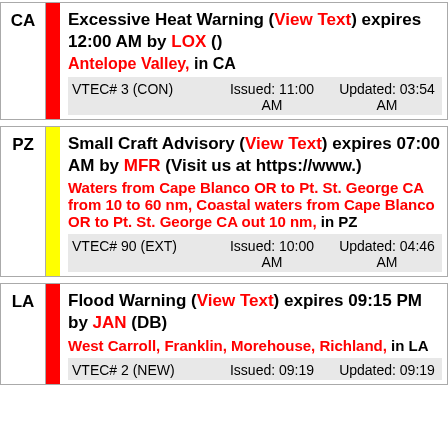CA | Excessive Heat Warning (View Text) expires 12:00 AM by LOX () Antelope Valley, in CA VTEC# 3 (CON) Issued: 11:00 AM  Updated: 03:54 AM
PZ | Small Craft Advisory (View Text) expires 07:00 AM by MFR (Visit us at https://www.) Waters from Cape Blanco OR to Pt. St. George CA from 10 to 60 nm, Coastal waters from Cape Blanco OR to Pt. St. George CA out 10 nm, in PZ VTEC# 90 (EXT) Issued: 10:00 AM  Updated: 04:46 AM
LA | Flood Warning (View Text) expires 09:15 PM by JAN (DB) West Carroll, Franklin, Morehouse, Richland, in LA VTEC# 2 (NEW) Issued: 09:19  Updated: 09:19